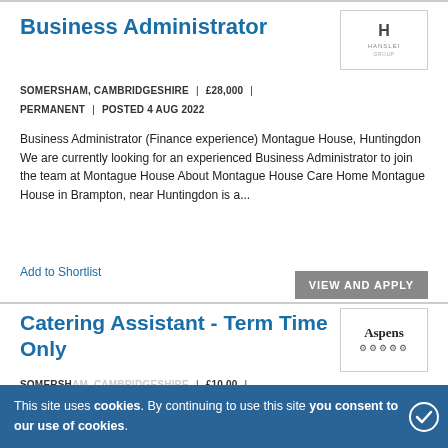Business Administrator
SOMERSHAM, CAMBRIDGESHIRE | £28,000 | PERMANENT | POSTED 4 AUG 2022
Business Administrator (Finance experience) Montague House, Huntingdon We are currently looking for an experienced Business Administrator to join the team at Montague House About Montague House Care Home Montague House in Brampton, near Huntingdon is a...
Add to Shortlist
VIEW AND APPLY
[Figure (logo): Hanslet company logo with H icon]
Catering Assistant - Term Time Only
[Figure (logo): Aspens catering services logo]
SOMERSHAM, CAMBRIDGESHIRE | £10.00 | PERMANENT | POSTED ...
Catering Assistant in Huntingdon, Cambridgeshire, PE28 – Term Time Only Aspens Services is an established and successful school contract caterer, providing meals to children in schools up and
This site uses cookies. By continuing to use this site you consent to our use of cookies.